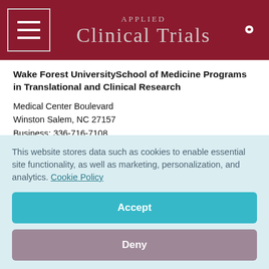Applied Clinical Trials
Wake Forest UniversitySchool of Medicine Programs in Translational and Clinical Research
Medical Center Boulevard
Winston Salem, NC 27157
Business: 336-716-7108
Fax: 336-713-5249
E-mail: [email protected]
Website: www.phs.wfubmc.edu/public/edu.cfm
This website stores data such as cookies to enable essential site functionality, as well as marketing, personalization, and analytics. Cookie Policy
Accept
Deny